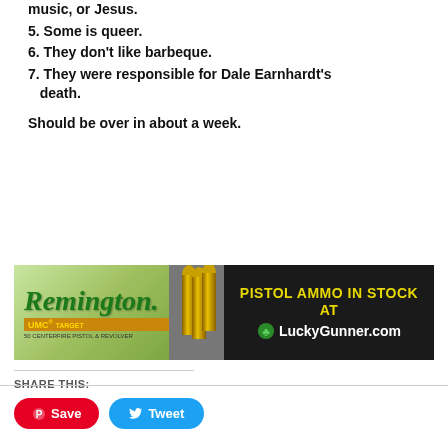music, or Jesus.
5. Some is queer.
6. They don't like barbeque.
7. They were responsible for Dale Earnhardt's death.
Should be over in about a week.
[Figure (photo): Remington UMC Target ammunition advertisement banner with bullets image and LuckyGunner.com text: PISTOL AMMO IN STOCK AT LuckyGunner.com]
SHARE THIS:
Save
Tweet